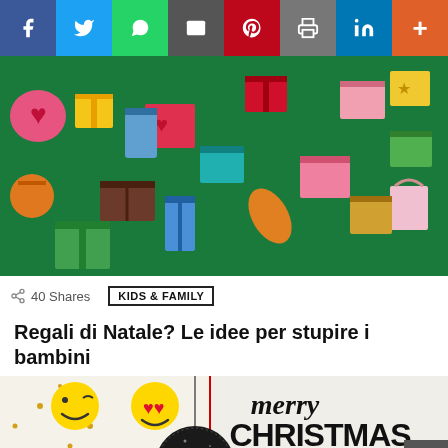[Figure (infographic): Social sharing buttons bar at top: Facebook (blue), Twitter (light blue), WhatsApp (green), Email (dark gray), Pinterest (red), Print (gray), LinkedIn (blue), More (orange)]
[Figure (illustration): Hero image with dark green background covered in colorful wrapped Christmas gift boxes and presents of various shapes and sizes]
40 Shares
KIDS & FAMILY
Regali di Natale? Le idee per stupire i bambini
[Figure (illustration): Bottom image split: left side shows a Christmas ornament ball made of glitter with emoji faces (winking kiss face and heart-eyes face) on strings, with a red vertical line and gold dot confetti. Right side shows 'Merry CHRISTMAS & HAPPY NEW YEAR' text with stylized lettering; names EDOARDO and MECCA appear at bottom in decorative font.]
31
SHARES